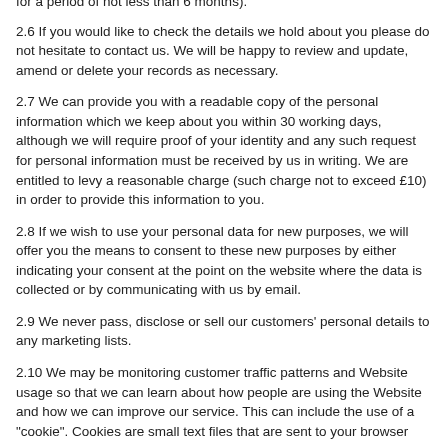for a period of not less than 6 months).
2.6 If you would like to check the details we hold about you please do not hesitate to contact us. We will be happy to review and update, amend or delete your records as necessary.
2.7 We can provide you with a readable copy of the personal information which we keep about you within 30 working days, although we will require proof of your identity and any such request for personal information must be received by us in writing. We are entitled to levy a reasonable charge (such charge not to exceed £10) in order to provide this information to you.
2.8 If we wish to use your personal data for new purposes, we will offer you the means to consent to these new purposes by either indicating your consent at the point on the website where the data is collected or by communicating with us by email.
2.9 We never pass, disclose or sell our customers' personal details to any marketing lists.
2.10 We may be monitoring customer traffic patterns and Website usage so that we can learn about how people are using the Website and how we can improve our service. This can include the use of a "cookie". Cookies are small text files that are sent to your browser